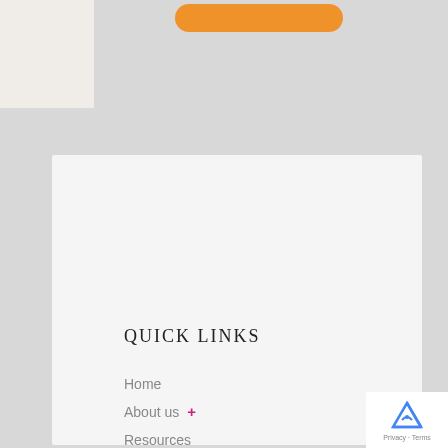[Figure (other): Orange rounded button at top of page]
QUICK LINKS
Home
About us +
Resources
Become a Member
Faq
Events
BWR Awards +
The Team
Terms and Code of Conduct